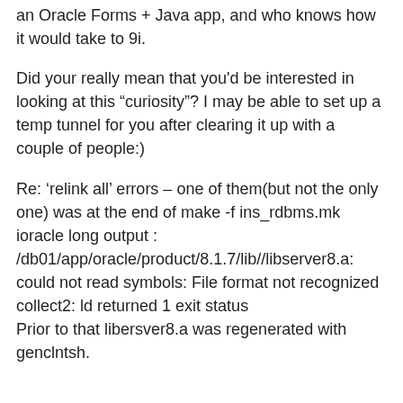an Oracle Forms + Java app, and who knows how it would take to 9i.
Did your really mean that you'd be interested in looking at this “curiosity”? I may be able to set up a temp tunnel for you after clearing it up with a couple of people:)
Re: ‘relink all’ errors – one of them(but not the only one) was at the end of make -f ins_rdbms.mk ioracle long output : /db01/app/oracle/product/8.1.7/lib//libserver8.a: could not read symbols: File format not recognized
collect2: ld returned 1 exit status
Prior to that libersver8.a was regenerated with genclntsh.